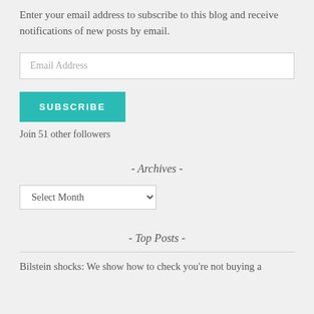Enter your email address to subscribe to this blog and receive notifications of new posts by email.
[Figure (other): Email Address input field (text input box)]
[Figure (other): SUBSCRIBE button (teal/green button)]
Join 51 other followers
- Archives -
[Figure (other): Select Month dropdown selector]
- Top Posts -
Bilstein shocks: We show how to check you're not buying a